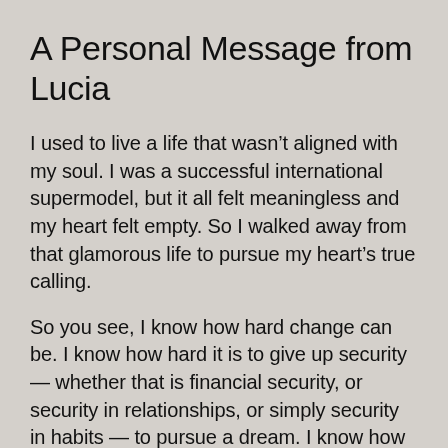A Personal Message from Lucia
I used to live a life that wasn’t aligned with my soul. I was a successful international supermodel, but it all felt meaningless and my heart felt empty. So I walked away from that glamorous life to pursue my heart’s true calling.
So you see, I know how hard change can be. I know how hard it is to give up security — whether that is financial security, or security in relationships, or simply security in habits — to pursue a dream. I know how hard it is to